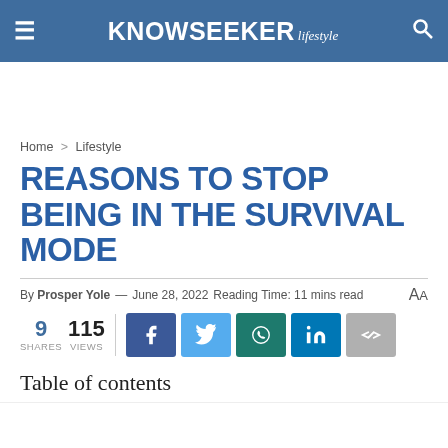KNOWSEEKER lifestyle
Home > Lifestyle
REASONS TO STOP BEING IN THE SURVIVAL MODE
By Prosper Yole — June 28, 2022  Reading Time: 11 mins read  AA
9 SHARES  115 VIEWS
Table of contents